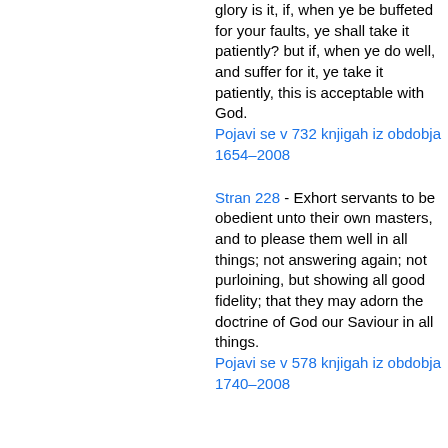glory is it, if, when ye be buffeted for your faults, ye shall take it patiently? but if, when ye do well, and suffer for it, ye take it patiently, this is acceptable with God.
Pojavi se v 732 knjigah iz obdobja 1654–2008
Stran 228 - Exhort servants to be obedient unto their own masters, and to please them well in all things; not answering again; not purloining, but showing all good fidelity; that they may adorn the doctrine of God our Saviour in all things.
Pojavi se v 578 knjigah iz obdobja 1740–2008